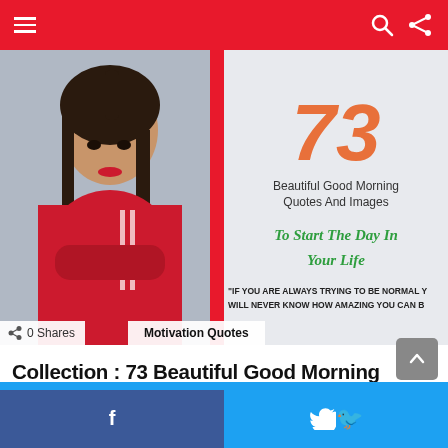Navigation header with menu, search and share icons
[Figure (photo): Composite image: left half shows a young woman in a red hoodie with arms crossed; right half shows a light gray background with text '73 Beautiful Good Morning Quotes And Images', green italic script 'To Start The Day In Your Life', and a quote starting with 'IF YOU ARE ALWAYS TRYING TO BE NORMAL Y... WILL NEVER KNOW HOW AMAZING YOU CAN B...']
0 Shares
Motivation Quotes
Collection : 73 Beautiful Good Morning Quotes And Images That Will Start Your Day
Facebook share button | Twitter share button